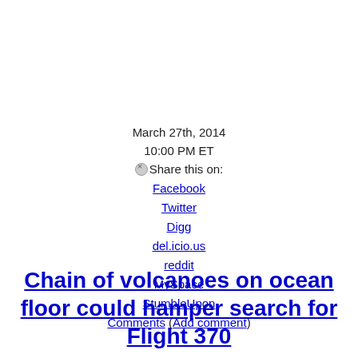March 27th, 2014
10:00 PM ET
⊗Share this on:
Facebook
Twitter
Digg
del.icio.us
reddit
MySpace
StumbleUpon
Comments (Add comment)
Chain of volcanoes on ocean floor could hamper search for Flight 370